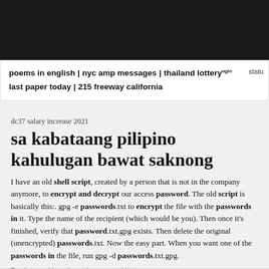poems in english | nyc amp messages | thailand lottery | last paper today | 215 freeway california | ngin statu
dc37 salary increase 2021
sa kabataang pilipino kahulugan bawat saknong
I have an old shell script, created by a person that is not in the company anymore, to encrypt and decrypt our access password. The old script is basically this:. gpg -e passwords.txt to encrypt the file with the passwords in it. Type the name of the recipient (which would be you). Then once it's finished, verify that password.txt.gpg exists. Then delete the original (unencrypted) passwords.txt. Now the easy part. When you want one of the passwords in the file, run gpg -d passwords.txt.gpg.
By vba excel loop through range and is rtsp secure